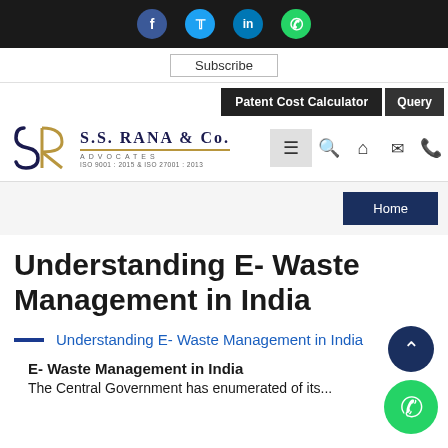Social bar with Facebook, Twitter, LinkedIn, WhatsApp icons
Subscribe
Patent Cost Calculator | Query | S.S. RANA & Co. Advocates ISO 9001:2015 & ISO 27001:2013 | Home
Understanding E- Waste Management in India
Understanding E- Waste Management in India
E- Waste Management in India
The Central Government has issued...